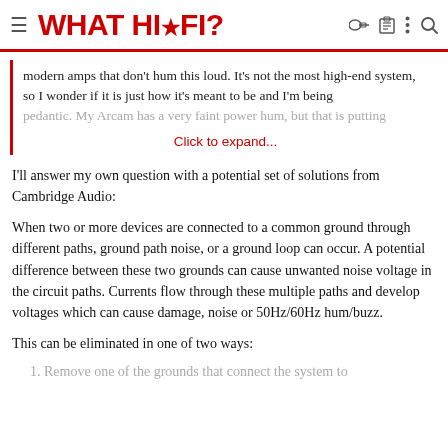WHAT HI·FI?
modern amps that don't hum this loud. It's not the most high-end system, so I wonder if it is just how it's meant to be and I'm being pedantic. My Arcam has a very faint power hum, but that is putting
Click to expand...
I'll answer my own question with a potential set of solutions from Cambridge Audio:
When two or more devices are connected to a common ground through different paths, ground path noise, or a ground loop can occur. A potential difference between these two grounds can cause unwanted noise voltage in the circuit paths. Currents flow through these multiple paths and develop voltages which can cause damage, noise or 50Hz/60Hz hum/buzz.
This can be eliminated in one of two ways:
1. Remove one of the grounds that connect the system to...